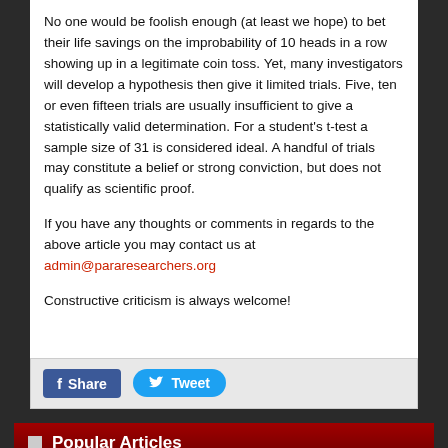No one would be foolish enough (at least we hope) to bet their life savings on the improbability of 10 heads in a row showing up in a legitimate coin toss. Yet, many investigators will develop a hypothesis then give it limited trials. Five, ten or even fifteen trials are usually insufficient to give a statistically valid determination. For a student's t-test a sample size of 31 is considered ideal. A handful of trials may constitute a belief or strong conviction, but does not qualify as scientific proof.
If you have any thoughts or comments in regards to the above article you may contact us at admin@pararesearchers.org
Constructive criticism is always welcome!
[Figure (other): Social share buttons: Facebook Share button (dark blue) and Twitter Tweet button (light blue rounded)]
Popular Articles
The Wendigo
The Guild Inn Scarborough Ontario
What Is A Caul?
Rural Folklore and Other Useful Tidbits
Death Omens